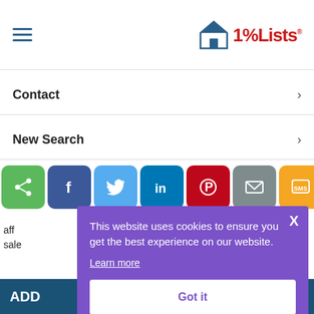1% Lists — navigation header with hamburger menu and logo
Contact >
New Search >
[Figure (infographic): Social sharing buttons row: share (green), Facebook (dark blue), Twitter (light blue), LinkedIn (teal), Pinterest (red), Email (gray), SMS (yellow)]
aff... sale...
[Figure (screenshot): Cookie consent popup with purple background, X close button, text 'This website uses cookies to ensure you get the best experience on our website.', Learn more link, and Got it button]
ADD ... G